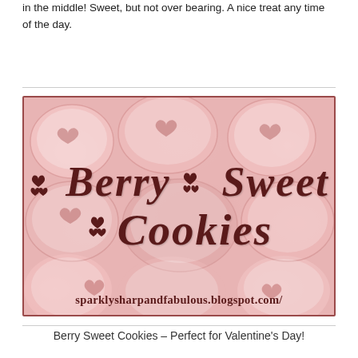in the middle! Sweet, but not over bearing. A nice treat any time of the day.
[Figure (photo): Berry Sweet Cookies promotional image with heart-shaped cookies dusted with powdered sugar and berry filling, overlaid with the text 'Berry Sweet Cookies' in dark red italic script, and the URL sparklysharpandfabulous.blogspot.com/ at the bottom]
Berry Sweet Cookies – Perfect for Valentine's Day!